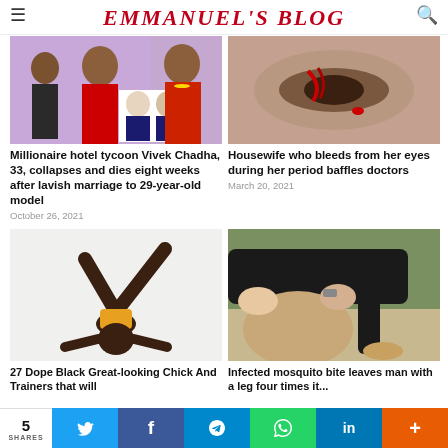EMMANUEL'S BLOG
[Figure (photo): Indian wedding couple photo with two men inset]
[Figure (photo): Close-up of an eye with red marks during period]
Millionaire hotel tycoon Vivek Chadha, 33, collapses and dies eight weeks after lavish marriage to 29-year-old model
October 26, 2021
Housewife who bleeds from her eyes during her period baffles doctors
March 20, 2021
[Figure (photo): Black woman in yoga pose balancing on head]
[Figure (photo): Man with severely swollen leg from infected mosquito bite]
27 Dope Black Great-looking Chick And Trainers that will
Infected mosquito bite leaves man with a leg four times it...
5 SHARES | Twitter | Facebook | Telegram | WhatsApp | LinkedIn | +